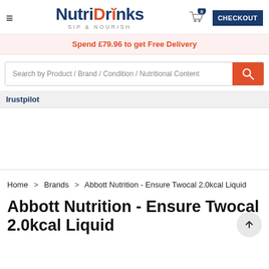[Figure (logo): NutriDrinks logo with 'SIP & NOURISH' tagline]
Spend £79.96 to get Free Delivery
Search by Product / Brand / Condition / Nutritional Content
Irustpilot
Home > Brands > Abbott Nutrition - Ensure Twocal 2.0kcal Liquid
Abbott Nutrition - Ensure Twocal 2.0kcal Liquid